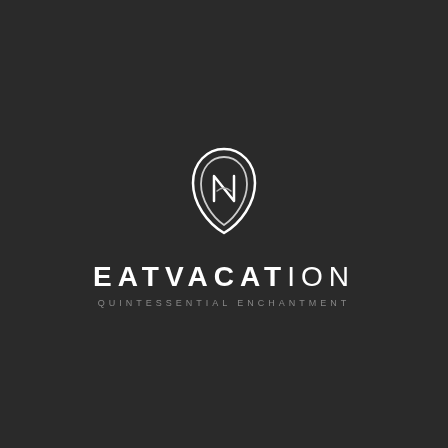[Figure (logo): EATVACATION logo featuring an abstract leaf/flame shaped emblem with interlocking curved lines forming a stylized design, above the brand name EATVACATION and tagline QUINTESSENTIAL ENCHANTMENT]